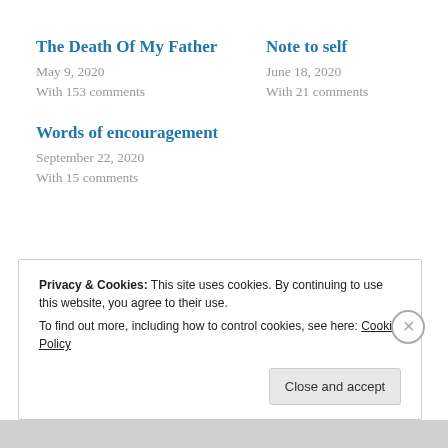The Death Of My Father
May 9, 2020
With 153 comments
Note to self
June 18, 2020
With 21 comments
Words of encouragement
September 22, 2020
With 15 comments
Privacy & Cookies: This site uses cookies. By continuing to use this website, you agree to their use.
To find out more, including how to control cookies, see here: Cookie Policy
Close and accept